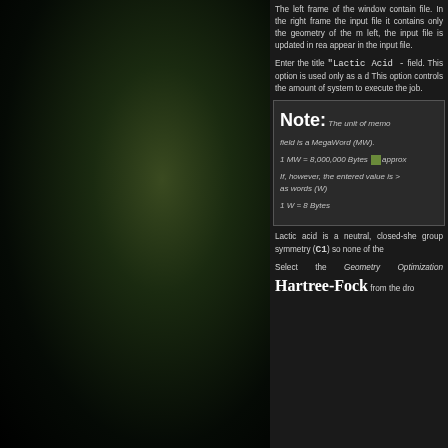The left frame of the window contain file. In the right frame the input file it contains only the geometry of the m left, the input file is updated in rea appear in the input file.
Enter the title "Lactic Acid -  field. This option is used only as a d This option controls the amount of system to execute the job.
Note: The unit of memo field is a MegaWord (MW). 1 MW = 8,000,000 Bytes [approx] If, however, the entered value is > as words (W) 1 W = 8 Bytes
Lactic acid is a neutral, closed-she group symmetry (C1) so none of the
Select the Geometry Optimization Hartree-Fock from the dro